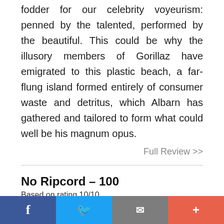fodder for our celebrity voyeurism: penned by the talented, performed by the beautiful. This could be why the illusory members of Gorillaz have emigrated to this plastic beach, a far-flung island formed entirely of consumer waste and detritus, which Albarn has gathered and tailored to form what could well be his magnum opus.
Full Review >>
No Ripcord – 100
Based on rating 10/10
Plastic Beach is just as good as the previous full-length by Damon Albarn's main outlet for ...